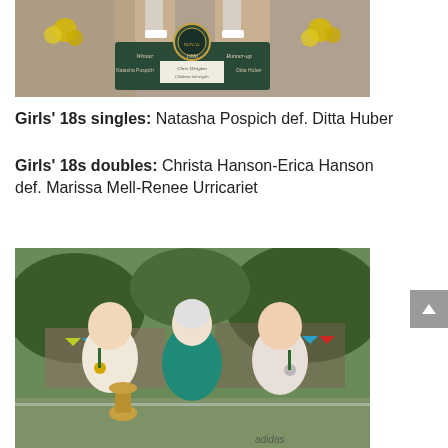[Figure (photo): Black and white photo of tennis award ceremony showing a trophy/plaque stand with 'Winner 1990 Runner-up' text, players standing behind it with yellow flowers decorating the trophy table.]
Girls’ 18s singles: Natasha Pospich def. Ditta Huber
Girls’ 18s doubles: Christa Hanson-Erica Hanson def. Marissa Mell-Renee Urricariet
[Figure (photo): Color photo of three people posing at a tennis tournament: two men wearing white tennis outfits with medals and green/white lanyards, and a woman in a teal jacket standing between them. The man on the left holds a large trophy cup. Colorful pennant flags are visible in the background.]